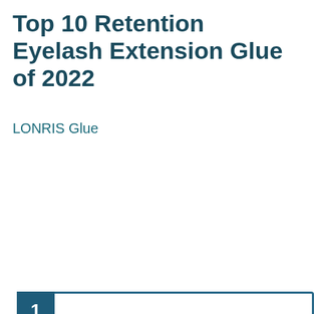Top 10 Retention Eyelash Extension Glue of 2022
LONRIS Glue
[Figure (photo): Product photo of LONRIS Platinum Extra Strong Premium Eyelash Extension Glue in a black bottle with gold cap, ranked #1]